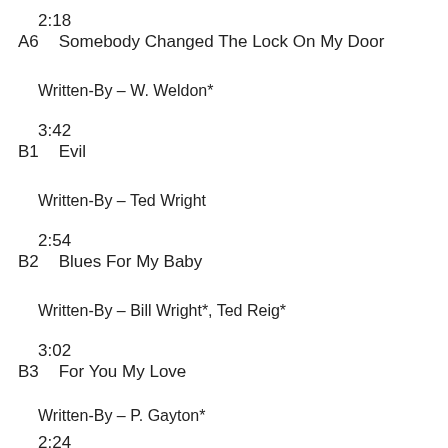2:18
A6    Somebody Changed The Lock On My Door
Written-By – W. Weldon*
3:42
B1      Evil
Written-By – Ted Wright
2:54
B2      Blues For My Baby
Written-By – Bill Wright*, Ted Reig*
3:02
B3      For You My Love
Written-By – P. Gayton*
2:24